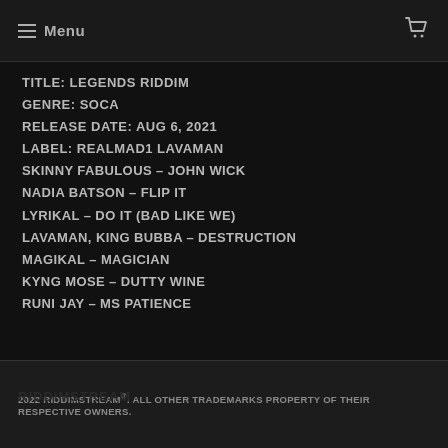Menu
TITLE: LEGENDS RIDDIM
GENRE: SOCA
RELEASE DATE: AUG 6, 2021
LABEL: REALMAD1 LAVAMAN
SKINNY FABULOUS – JOHN WICK
NADIA BATSON – FLIP IT
LYRIKAL – DO IT (BAD LIKE WE)
LAVAMAN, KING BUBBA – DESTRUCTION
MAGIKAL – MAGICIAN
KYNG MOSE – DUTTY WINE
RUNI JAY – MS PATIENCE
2022 RIDDIMSTREAM®. ALL OTHER TRADEMARKS PROPERTY OF THEIR RESPECTIVE OWNERS.